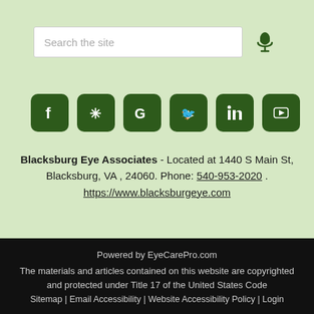[Figure (screenshot): Search bar with placeholder text 'Search the site' and a microphone icon to the right, on a light green background]
[Figure (infographic): Row of six dark green social media icon buttons: Facebook, Yelp, Google, Twitter, LinkedIn, YouTube]
Blacksburg Eye Associates - Located at 1440 S Main St, Blacksburg, VA , 24060. Phone: 540-953-2020 . https://www.blacksburgeye.com
Powered by EyeCarePro.com
The materials and articles contained on this website are copyrighted and protected under Title 17 of the United States Code
Sitemap | Email Accessibility | Website Accessibility Policy | Login